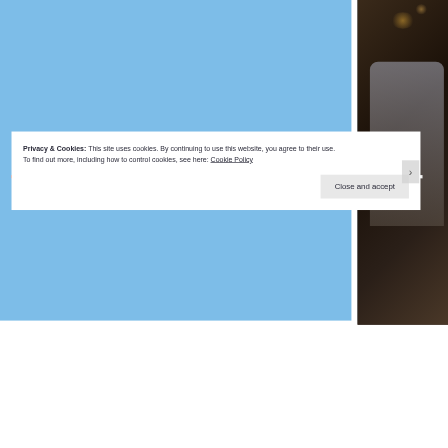[Figure (photo): Screenshot of a webpage with a light blue background on the left portion and a dark photograph on the right showing a person in a dim indoor setting. A white vertical gap separates the two sections.]
Privacy & Cookies: This site uses cookies. By continuing to use this website, you agree to their use.
To find out more, including how to control cookies, see here: Cookie Policy
Close and accept